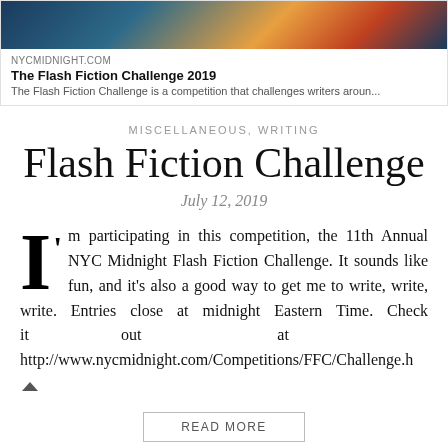[Figure (screenshot): Preview card showing NYCMIDNIGHT.COM The Flash Fiction Challenge 2019 with a colorful illustrated header image and description text.]
NYCMIDNIGHT.COM
The Flash Fiction Challenge 2019
The Flash Fiction Challenge is a competition that challenges writers aroun...
MISCELLANEOUS, WRITING
Flash Fiction Challenge
July 12, 2019
I'm participating in this competition, the 11th Annual NYC Midnight Flash Fiction Challenge. It sounds like fun, and it's also a good way to get me to write, write, write. Entries close at midnight Eastern Time. Check it out at http://www.nycmidnight.com/Competitions/FFC/Challenge.h
READ MORE